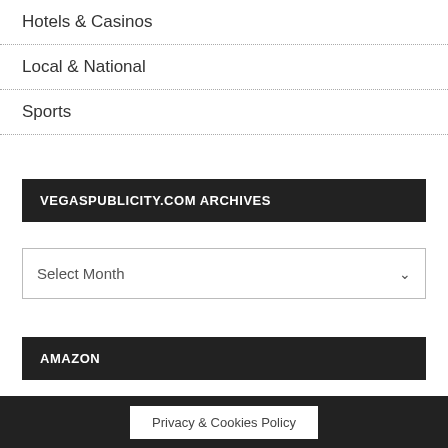Hotels & Casinos
Local & National
Sports
VEGASPUBLICITY.COM ARCHIVES
Select Month
AMAZON
Privacy & Cookies Policy